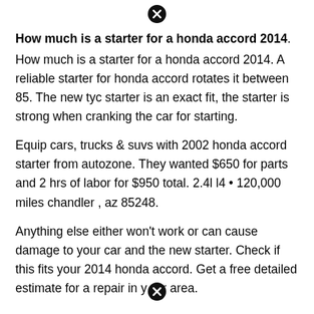[Figure (other): Close/dismiss button icon (circle with X) at top center]
How much is a starter for a honda accord 2014.
How much is a starter for a honda accord 2014. A reliable starter for honda accord rotates it between 85. The new tyc starter is an exact fit, the starter is strong when cranking the car for starting.
Equip cars, trucks & suvs with 2002 honda accord starter from autozone. They wanted $650 for parts and 2 hrs of labor for $950 total. 2.4l l4 • 120,000 miles chandler , az 85248.
Anything else either won't work or can cause damage to your car and the new starter. Check if this fits your 2014 honda accord. Get a free detailed estimate for a repair in your area.
[Figure (other): Close/dismiss button icon (circle with X) at bottom center]